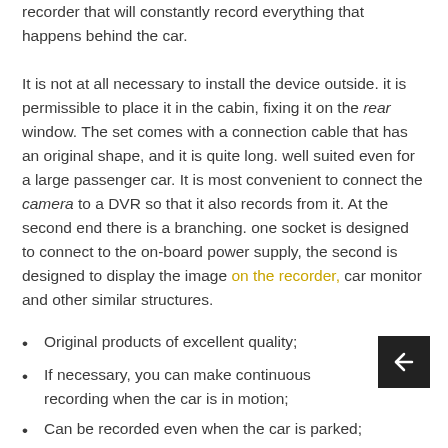recorder that will constantly record everything that happens behind the car.
It is not at all necessary to install the device outside. it is permissible to place it in the cabin, fixing it on the rear window. The set comes with a connection cable that has an original shape, and it is quite long. well suited even for a large passenger car. It is most convenient to connect the camera to a DVR so that it also records from it. At the second end there is a branching. one socket is designed to connect to the on-board power supply, the second is designed to display the image on the recorder, car monitor and other similar structures.
Original products of excellent quality;
If necessary, you can make continuous recording when the car is in motion;
Can be recorded even when the car is parked;